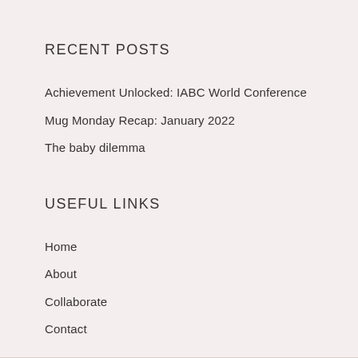RECENT POSTS
Achievement Unlocked: IABC World Conference
Mug Monday Recap: January 2022
The baby dilemma
USEFUL LINKS
Home
About
Collaborate
Contact